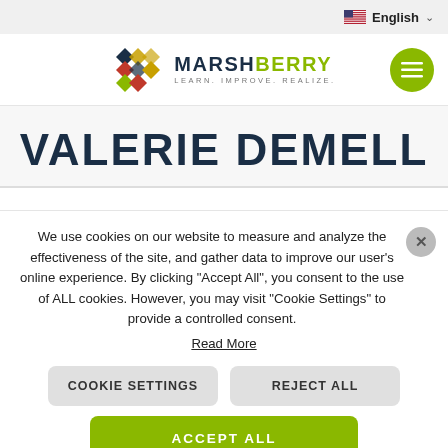English
[Figure (logo): Marshberry logo with diamond/cross pattern icon in red, blue, yellow, green, and the text MARSHBERRY LEARN. IMPROVE. REALIZE.]
VALERIE DEMELL
We use cookies on our website to measure and analyze the effectiveness of the site, and gather data to improve our user's online experience. By clicking "Accept All", you consent to the use of ALL cookies. However, you may visit "Cookie Settings" to provide a controlled consent. Read More
COOKIE SETTINGS
REJECT ALL
ACCEPT ALL